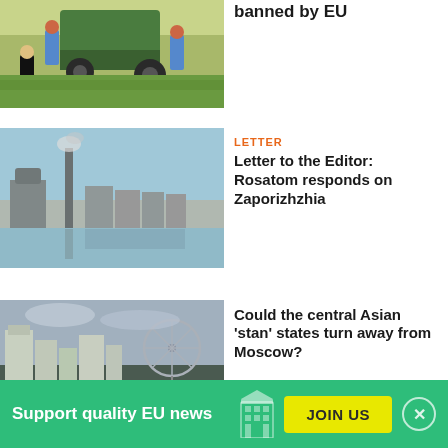[Figure (photo): Agricultural workers harvesting crops in a field with a green tractor/machine]
banned by EU
[Figure (photo): Industrial skyline with smokestacks and water reflection, likely Zaporizhzhia nuclear plant]
LETTER
Letter to the Editor: Rosatom responds on Zaporizhzhia
[Figure (photo): City skyline with a ferris wheel and modern buildings under overcast sky, central Asian city]
Could the central Asian 'stan' states turn away from Moscow?
Support quality EU news
JOIN US